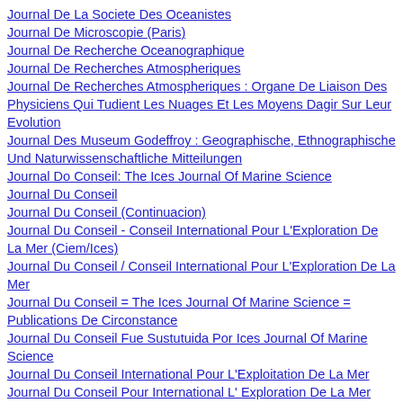Journal De La Societe Des Oceanistes
Journal De Microscopie (Paris)
Journal De Recherche Oceanographique
Journal De Recherches Atmospheriques
Journal De Recherches Atmospheriques : Organe De Liaison Des Physiciens Qui Tudient Les Nuages Et Les Moyens Dagir Sur Leur Evolution
Journal Des Museum Godeffroy : Geographische, Ethnographische Und Naturwissenschaftliche Mitteilungen
Journal Do Conseil: The Ices Journal Of Marine Science
Journal Du Conseil
Journal Du Conseil (Continuacion)
Journal Du Conseil - Conseil International Pour L'Exploration De La Mer (Ciem/Ices)
Journal Du Conseil / Conseil International Pour L'Exploration De La Mer
Journal Du Conseil = The Ices Journal Of Marine Science = Publications De Circonstance
Journal Du Conseil Fue Sustutuida Por Ices Journal Of Marine Science
Journal Du Conseil International Pour L'Exploitation De La Mer
Journal Du Conseil Pour International L' Exploration De La Mer
Journal Du Conseil. Conseil Permanent International Pour L'exploration De La Mer
Journal For Nature Conservation